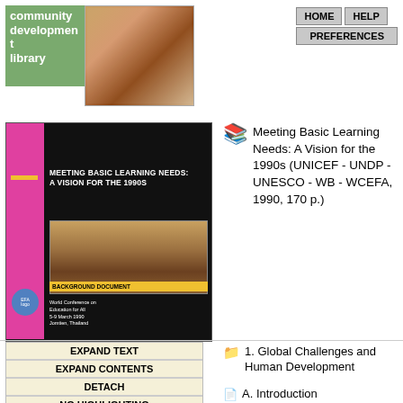[Figure (logo): Community Development Library logo with green background and book/photo collage image]
[Figure (screenshot): Navigation buttons: HOME, HELP, PREFERENCES]
[Figure (photo): Book cover: Meeting Basic Learning Needs: A Vision for the 1990s - Background Document, World Conference on Education for All, 5-9 March 1990, Jomtien, Thailand]
Meeting Basic Learning Needs: A Vision for the 1990s (UNICEF - UNDP - UNESCO - WB - WCEFA, 1990, 170 p.)
[Figure (screenshot): Action buttons: EXPAND TEXT, EXPAND CONTENTS, DETACH, NO HIGHLIGHTING]
1. Global Challenges and Human Development
A. Introduction